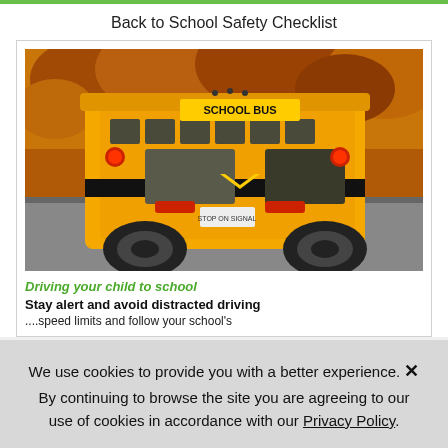Back to School Safety Checklist
[Figure (photo): A yellow school bus photographed from the rear-left angle, driving on a road surrounded by autumn orange foliage. The bus displays 'SCHOOL BUS' on the back and 'STOP ON SIGNAL' text.]
Driving your child to school
Stay alert and avoid distracted driving
...speed limits and follow your school's
We use cookies to provide you with a better experience. By continuing to browse the site you are agreeing to our use of cookies in accordance with our Privacy Policy.